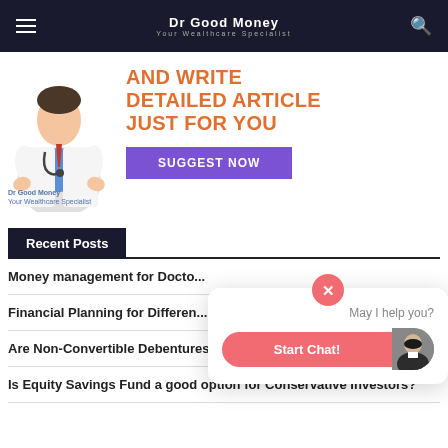Dr Good Money · Your Wealthcare Specialist
[Figure (illustration): Dr Good Money banner with doctor figure on left and orange text 'AND WRITE DETAILED ARTICLE JUST FOR YOU' with purple SUGGEST NOW button]
Recent Posts
Money management for Docto...
Financial Planning for Differen...
Are Non-Convertible Debentures suitable for Doctors?
Is Equity Savings Fund a good option for Conservative Investors?
[Figure (screenshot): Chat popup widget: close X button, 'May I help you?' text, red 'Start Chat!' button with avatar]